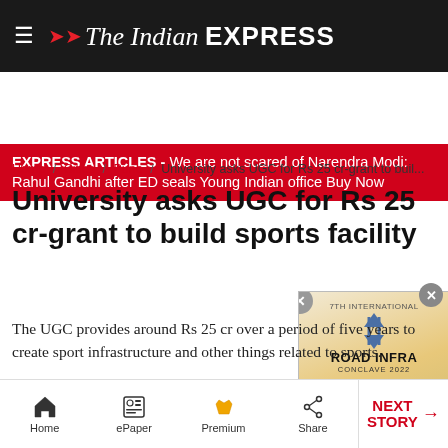The Indian EXPRESS
EXPRESS ARTICLES - We are not scared of Narendra Modi: Rahul Gandhi after ED seals Young Indian office Buy Now
Home / Cities / Pune / University asks UGC for Rs 25 cr-grant to build
University asks UGC for Rs 25 cr-grant to build sports facility
The UGC provides around Rs 25 cr over a period of five years to create sport infrastructure and other things related to sports.
[Figure (other): Road Infra Conclave 2022 advertisement showing road and arrow graphic]
Home  ePaper  Premium  Share  NEXT STORY